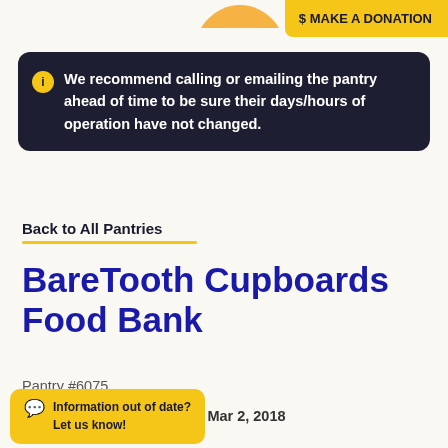[Figure (infographic): Partial yellow circular icon visible at top of page]
$ MAKE A DONATION
We recommend calling or emailing the pantry ahead of time to be sure their days/hours of operation have not changed.
Back to All Pantries
BareTooth Cupboards Food Bank
Pantry #6075
This listing was last updated Mar 2, 2018
Information out of date? Let us know!